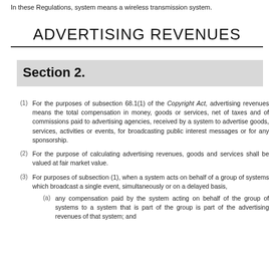In these Regulations, system means a wireless transmission system.
ADVERTISING REVENUES
Section 2.
(1) For the purposes of subsection 68.1(1) of the Copyright Act, advertising revenues means the total compensation in money, goods or services, net of taxes and of commissions paid to advertising agencies, received by a system to advertise goods, services, activities or events, for broadcasting public interest messages or for any sponsorship.
(2) For the purpose of calculating advertising revenues, goods and services shall be valued at fair market value.
(3) For purposes of subsection (1), when a system acts on behalf of a group of systems which broadcast a single event, simultaneously or on a delayed basis,
(a) any compensation paid by the system acting on behalf of the group of systems to a system that is part of the group is part of the advertising revenues of that system; and